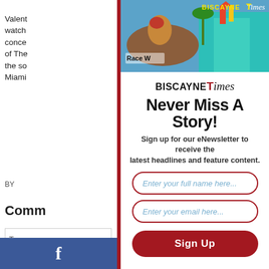Valent... watch... conce... of The... the so... Miami...
BY...
Comm...
Type su...
[Figure (photo): Biscayne Times magazine cover showing a horse race and colorful building with Race W... text visible]
BISCAYNE Times
Never Miss A Story!
Sign up for our eNewsletter to receive the latest headlines and feature content.
Enter your full name here...
Enter your email here...
Sign Up